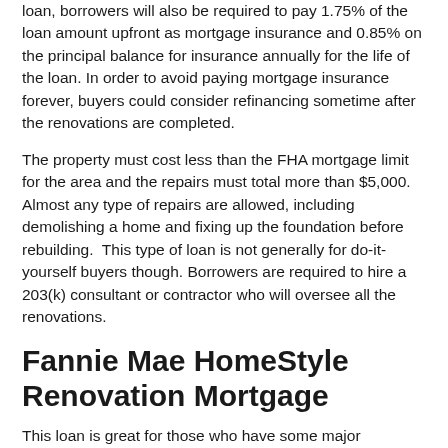loan, borrowers will also be required to pay 1.75% of the loan amount upfront as mortgage insurance and 0.85% on the principal balance for insurance annually for the life of the loan. In order to avoid paying mortgage insurance forever, buyers could consider refinancing sometime after the renovations are completed.
The property must cost less than the FHA mortgage limit for the area and the repairs must total more than $5,000. Almost any type of repairs are allowed, including demolishing a home and fixing up the foundation before rebuilding. This type of loan is not generally for do-it-yourself buyers though. Borrowers are required to hire a 203(k) consultant or contractor who will oversee all the renovations.
Fannie Mae HomeStyle Renovation Mortgage
This loan is great for those who have some major renovations to do as home buyers can borrow money to